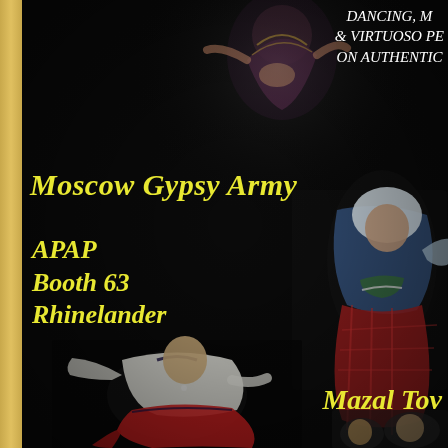[Figure (photo): Promotional flyer for Moscow Gypsy Army performing arts group. Black background with multiple performance photos: top center shows a belly dancer in ornate costume; center right shows a woman in blue and white headscarf with red plaid skirt; bottom center shows a male dancer in white shirt with red flowing fabric; bottom right shows additional performers. A gold/tan vertical border strip runs along the left edge.]
DANCING, M & VIRTUOSO PE ON AUTHENTIC
Moscow Gypsy Army
APAP
Booth 63
Rhinelander
Mazal Tov